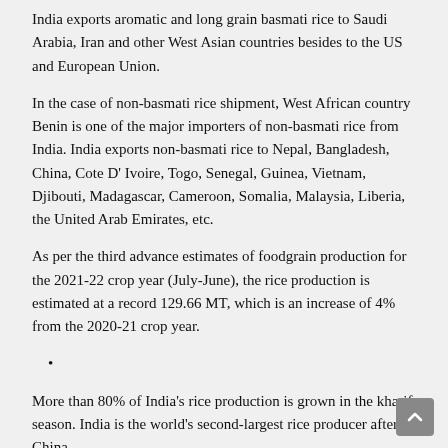India exports aromatic and long grain basmati rice to Saudi Arabia, Iran and other West Asian countries besides to the US and European Union.
In the case of non-basmati rice shipment, West African country Benin is one of the major importers of non-basmati rice from India. India exports non-basmati rice to Nepal, Bangladesh, China, Cote D' Ivoire, Togo, Senegal, Guinea, Vietnam, Djibouti, Madagascar, Cameroon, Somalia, Malaysia, Liberia, the United Arab Emirates, etc.
As per the third advance estimates of foodgrain production for the 2021-22 crop year (July-June), the rice production is estimated at a record 129.66 MT, which is an increase of 4% from the 2020-21 crop year.
•
More than 80% of India's rice production is grown in the kharif season. India is the world's second-largest rice producer after China.